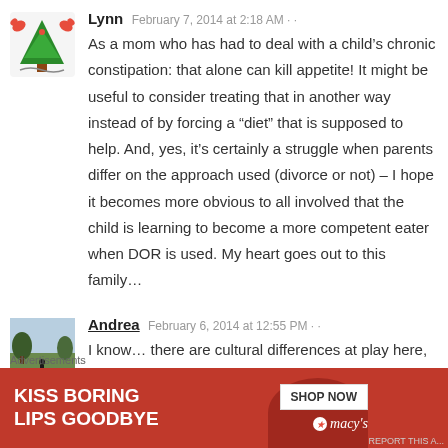[Figure (illustration): Avatar of user Lynn - cartoon Christmas tree with crab claws decoration]
Lynn   February 7, 2014 at 2:18 AM
As a mom who has had to deal with a child's chronic constipation: that alone can kill appetite! It might be useful to consider treating that in another way instead of by forcing a “diet” that is supposed to help. And, yes, it’s certainly a struggle when parents differ on the approach used (divorce or not) – I hope it becomes more obvious to all involved that the child is learning to become a more competent eater when DOR is used. My heart goes out to this family…
[Figure (photo): Avatar of user Andrea - outdoor photo with trees and path]
Andrea   February 6, 2014 at 12:55 PM
I know… there are cultural differences at play here, but there you are… 😀
What surprises me is that nobody picks on the, for me, obvious
Advertisements
[Figure (photo): Macy's advertisement banner: KISS BORING LIPS GOODBYE with SHOP NOW button and Macy's logo with star]